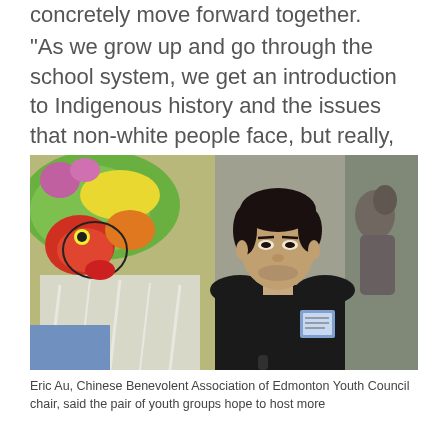concretely move forward together.
"As we grow up and go through the school system, we get an introduction to Indigenous history and the issues that non-white people face, but really, the need to learn is not very satisfied," Au added.
[Figure (photo): Eric Au, a young Asian man with dark hair, standing in front of colorful cultural artwork including a lion dance costume painting and Indigenous-style artwork. He is wearing a dark jacket with a name tag.]
Eric Au, Chinese Benevolent Association of Edmonton Youth Council chair, said the pair of youth groups hope to host more